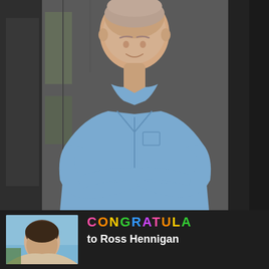[Figure (photo): Young man with short hair, arms crossed, wearing a light blue button-up shirt, standing in front of a dark modern building exterior]
[Figure (photo): Small thumbnail photo of another person with dark hair outdoors, partially visible]
CONGRATULA
to Ross Hennigan